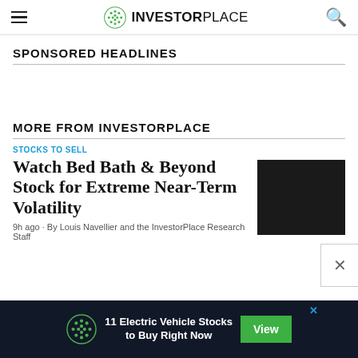INVESTORPLACE
SPONSORED HEADLINES
MORE FROM INVESTORPLACE
STOCKS TO SELL
Watch Bed Bath & Beyond Stock for Extreme Near-Term Volatility
9h ago · By Louis Navellier and the InvestorPlace Research Staff
[Figure (other): Dark thumbnail image for article about Bed Bath & Beyond stock]
11 Electric Vehicle Stocks to Buy Right Now
View